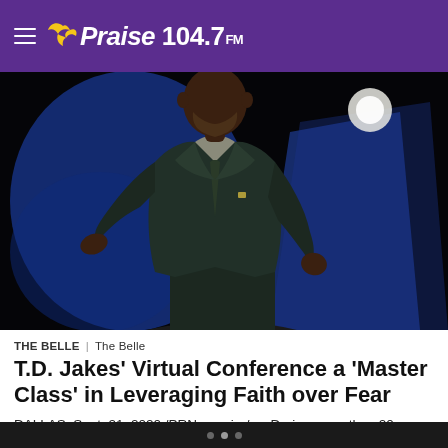Praise 104.7 FM
[Figure (photo): T.D. Jakes speaking on stage in a dark suit, gesturing with both hands against a blue and black background with a spotlight]
THE BELLE | The Belle
T.D. Jakes’ Virtual Conference a ‘Master Class’ in Leveraging Faith over Fear
DALLAS, Sept. 21, 2020 /PRNewswire/ — During more than 20 years of the Woman Thou Art Loosed international gathering, the...